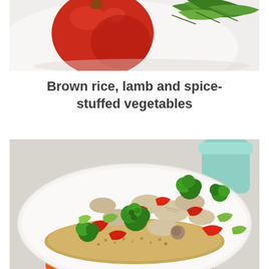[Figure (photo): Top portion of a stuffed red bell pepper with green arugula leaves on a white plate, shown from above at close range.]
Brown rice, lamb and spice-stuffed vegetables
[Figure (photo): A white plate filled with a colorful stir-fry of broccoli, red bell pepper slices, mushrooms, and celery on a bed of brown rice or quinoa grains. An orange cloth napkin is visible underneath the plate, and a mint-green mug is in the background.]